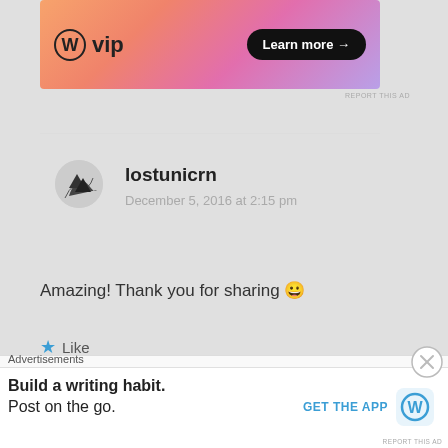[Figure (screenshot): WordPress VIP advertisement banner with gradient orange-to-purple background, WP logo, 'vip' text, and 'Learn more →' button]
REPORT THIS AD
lostunicrn
December 5, 2016 at 2:15 pm
Amazing! Thank you for sharing 😀
★ Like
Reply
[Figure (photo): Partial view of another commenter's avatar photo at bottom]
Advertisements
Build a writing habit.
Post on the go.
GET THE APP
REPORT THIS AD